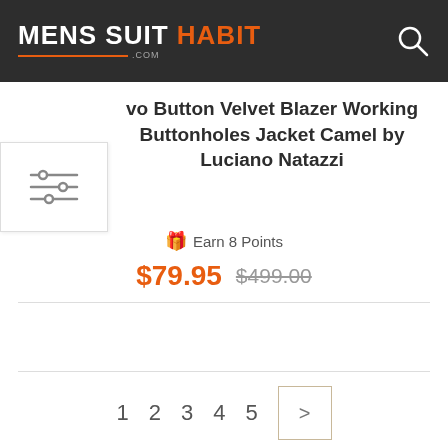[Figure (logo): Mens Suit Habit .com logo on dark header with search icon]
[Figure (infographic): Filter/sliders icon in white box on left side]
Two Button Velvet Blazer Working Buttonholes Jacket Camel by Luciano Natazzi
🎁 Earn 8 Points
$79.95  $499.00
1  2  3  4  5  >
Show  21
Custom & Custom for Men